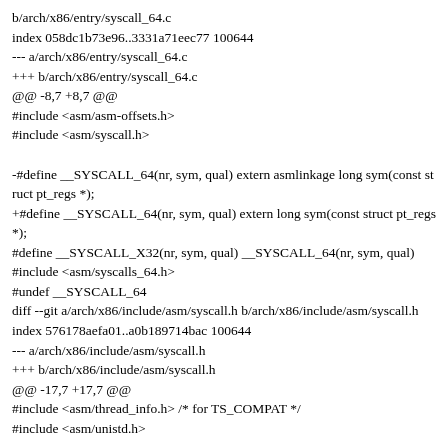diff --git a/arch/x86/entry/syscall_64.c b/arch/x86/entry/syscall_64.c
index 058dc1b73e96..3331a71eec77 100644
--- a/arch/x86/entry/syscall_64.c
+++ b/arch/x86/entry/syscall_64.c
@@ -8,7 +8,7 @@
#include <asm/asm-offsets.h>
#include <asm/syscall.h>

-#define __SYSCALL_64(nr, sym, qual) extern asmlinkage long sym(const struct pt_regs *);
+#define __SYSCALL_64(nr, sym, qual) extern long sym(const struct pt_regs *);
#define __SYSCALL_X32(nr, sym, qual) __SYSCALL_64(nr, sym, qual)
#include <asm/syscalls_64.h>
#undef __SYSCALL_64
diff --git a/arch/x86/include/asm/syscall.h b/arch/x86/include/asm/syscall.h
index 576178aefa01..a0b189714bac 100644
--- a/arch/x86/include/asm/syscall.h
+++ b/arch/x86/include/asm/syscall.h
@@ -17,7 +17,7 @@
#include <asm/thread_info.h> /* for TS_COMPAT */
#include <asm/unistd.h>